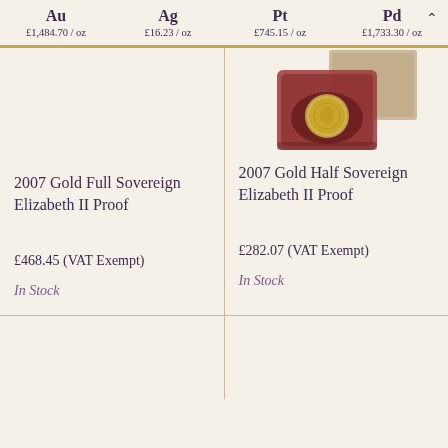Au £1,484.70 / oz   Ag £16.23 / oz   Pt £745.15 / oz   Pd £1,733.30 / oz
[Figure (photo): Gold half sovereign coin in a red presentation box with a card sleeve, photographed from above]
2007 Gold Full Sovereign Elizabeth II Proof
2007 Gold Half Sovereign Elizabeth II Proof
£468.45 (VAT Exempt)
£282.07 (VAT Exempt)
In Stock
In Stock